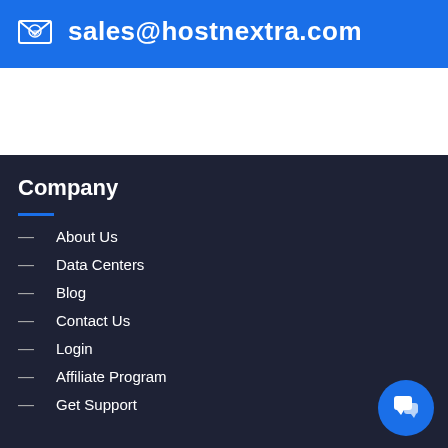sales@hostnextra.com
Company
About Us
Data Centers
Blog
Contact Us
Login
Affiliate Program
Get Support